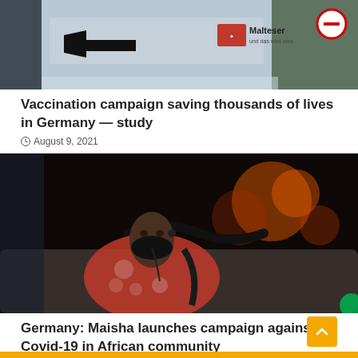[Figure (photo): Photo of a Malteser sign with a left-pointing arrow at a vaccination center in Germany]
Vaccination campaign saving thousands of lives in Germany — study
August 9, 2021
[Figure (photo): Woman wearing a black face mask and floral dress sitting on a bus at night]
Germany: Maisha launches campaign against Covid-19 in African community
August 9, 2021